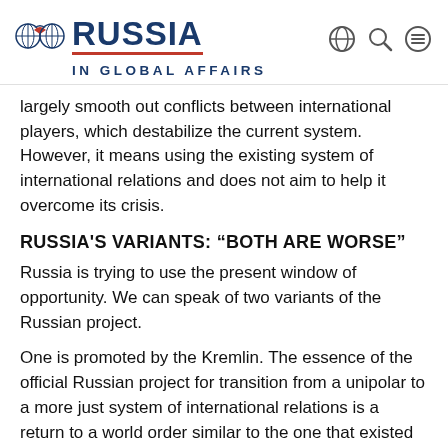RUSSIA IN GLOBAL AFFAIRS
largely smooth out conflicts between international players, which destabilize the current system. However, it means using the existing system of international relations and does not aim to help it overcome its crisis.
RUSSIA'S VARIANTS: “BOTH ARE WORSE”
Russia is trying to use the present window of opportunity. We can speak of two variants of the Russian project.
One is promoted by the Kremlin. The essence of the official Russian project for transition from a unipolar to a more just system of international relations is a return to a world order similar to the one that existed in the second half of the 20th century, only somewhat more complex. In fact,